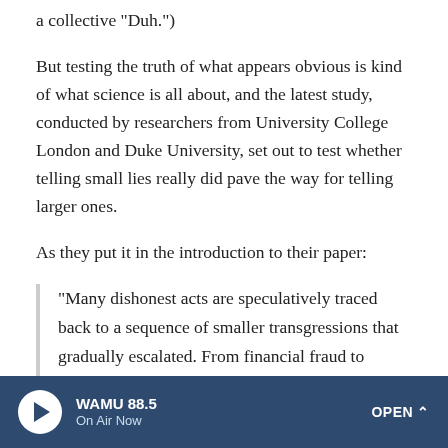a collective "Duh.")
But testing the truth of what appears obvious is kind of what science is all about, and the latest study, conducted by researchers from University College London and Duke University, set out to test whether telling small lies really did pave the way for telling larger ones.
As they put it in the introduction to their paper:
"Many dishonest acts are speculatively traced back to a sequence of smaller transgressions that gradually escalated. From financial fraud to plagiarism, online scams and scientific misconduct, deceivers retrospectively describe how minor dishonest decisions snowballed into significant
WAMU 88.5 On Air Now OPEN